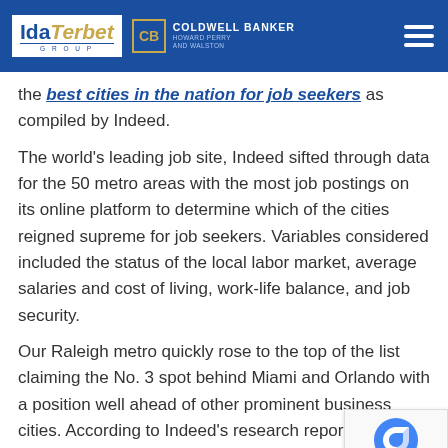Ida Terbet Group | Coldwell Banker Howard Perry and Walston
the best cities in the nation for job seekers as compiled by Indeed.
The world's leading job site, Indeed sifted through data for the 50 metro areas with the most job postings on its online platform to determine which of the cities reigned supreme for job seekers. Variables considered included the status of the local labor market, average salaries and cost of living, work-life balance, and job security.
Our Raleigh metro quickly rose to the top of the list claiming the No. 3 spot behind Miami and Orlando with a position well ahead of other prominent business cities. According to Indeed's research report:
Raleigh, NC has the friendliest labor market for job